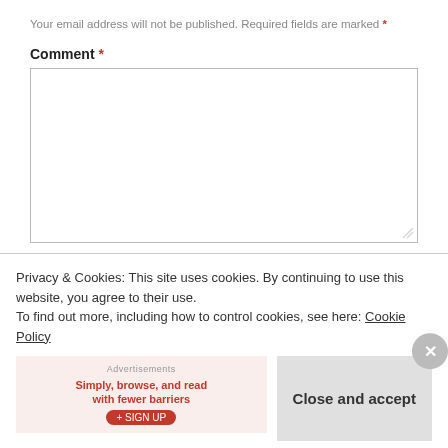Your email address will not be published. Required fields are marked *
Comment *
Name *
Email *
Privacy & Cookies: This site uses cookies. By continuing to use this website, you agree to their use.
To find out more, including how to control cookies, see here: Cookie Policy
Advertisements
Close and accept